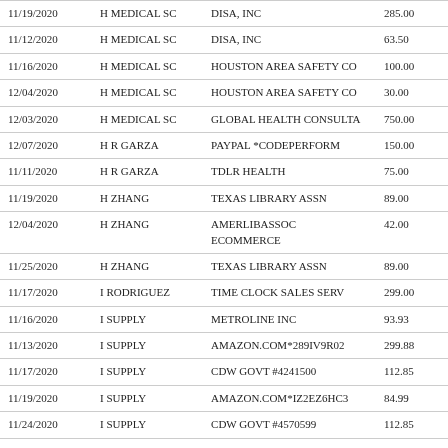| 11/19/2020 | H MEDICAL SC | DISA, INC | 285.00 |
| 11/12/2020 | H MEDICAL SC | DISA, INC | 63.50 |
| 11/16/2020 | H MEDICAL SC | HOUSTON AREA SAFETY CO | 100.00 |
| 12/04/2020 | H MEDICAL SC | HOUSTON AREA SAFETY CO | 30.00 |
| 12/03/2020 | H MEDICAL SC | GLOBAL HEALTH CONSULTA | 750.00 |
| 12/07/2020 | H R GARZA | PAYPAL *CODEPERFORM | 150.00 |
| 11/11/2020 | H R GARZA | TDLR HEALTH | 75.00 |
| 11/19/2020 | H ZHANG | TEXAS LIBRARY ASSN | 89.00 |
| 12/04/2020 | H ZHANG | AMERLIBASSOC ECOMMERCE | 42.00 |
| 11/25/2020 | H ZHANG | TEXAS LIBRARY ASSN | 89.00 |
| 11/17/2020 | I RODRIGUEZ | TIME CLOCK SALES SERV | 299.00 |
| 11/16/2020 | I SUPPLY | METROLINE INC | 93.93 |
| 11/13/2020 | I SUPPLY | AMAZON.COM*289IV9R02 | 299.88 |
| 11/17/2020 | I SUPPLY | CDW GOVT #4241500 | 112.85 |
| 11/19/2020 | I SUPPLY | AMAZON.COM*IZ2EZ6HC3 | 84.99 |
| 11/24/2020 | I SUPPLY | CDW GOVT #4570599 | 112.85 |